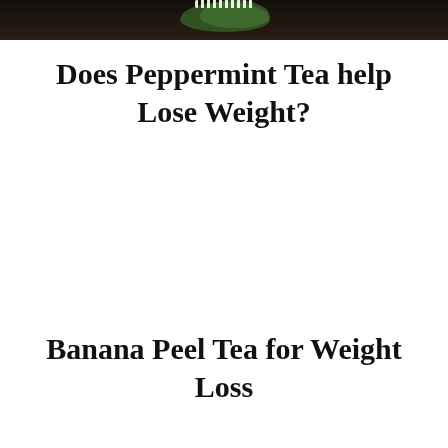[Figure (photo): Partial photo of peppermint tea or peppermint leaves on a dark background, cropped at the top of the page]
Does Peppermint Tea help Lose Weight?
Banana Peel Tea for Weight Loss